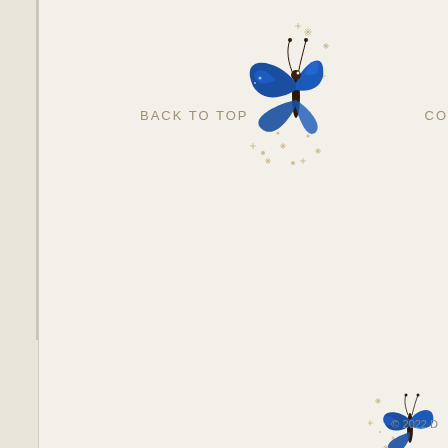[Figure (illustration): Blue butterfly with gold star/flower decorative elements, perched, upper right area]
BACK TO TOP
CO
[Figure (illustration): Blue butterfly with gold star/flower decorative elements, lower right corner]
© 2022 D